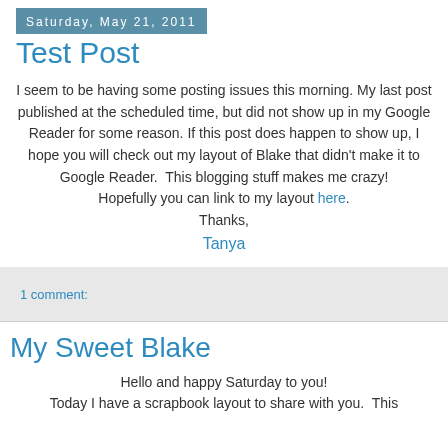Saturday, May 21, 2011
Test Post
I seem to be having some posting issues this morning. My last post published at the scheduled time, but did not show up in my Google Reader for some reason. If this post does happen to show up, I hope you will check out my layout of Blake that didn't make it to Google Reader.  This blogging stuff makes me crazy!  Hopefully you can link to my layout here. Thanks, Tanya
1 comment:
My Sweet Blake
Hello and happy Saturday to you!  Today I have a scrapbook layout to share with you.  This